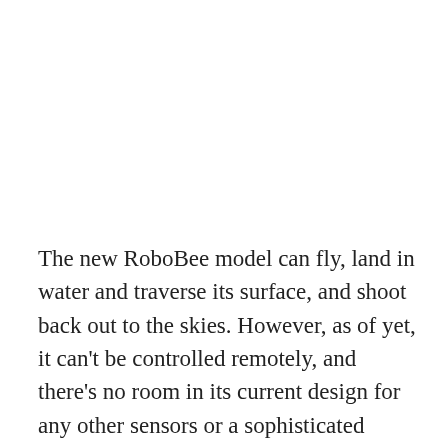The new RoboBee model can fly, land in water and traverse its surface, and shoot back out to the skies. However, as of yet, it can't be controlled remotely, and there's no room in its current design for any other sensors or a sophisticated guidance system. After following this project for the past few years, though, it's clear that this is a continuing project that keeps building upon its previous successes. Surely, the next time we report on the RoboBee, it'll be capable of even more impressive abilities.